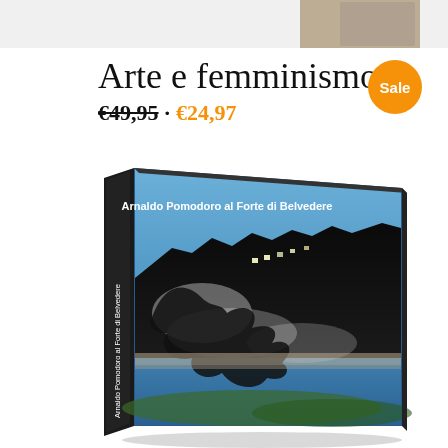[Figure (illustration): Partial view of a book or image strip at the very top of the page, cropped]
Arte e femminismo
€49,95 · €24,97
[Figure (photo): Book mockup showing a hardcover book titled 'Arnaldo Pomodoro al Forte di Belvedere', displayed at an angle showing the cover (a dramatic painting of a dark silhouetted fortress against a blue sky) and the spine with the same text.]
Sale